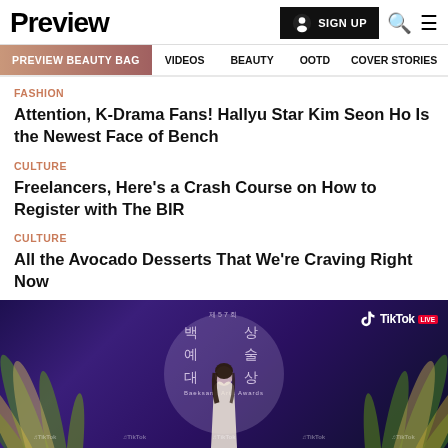Preview
SIGN UP
PREVIEW BEAUTY BAG | VIDEOS | BEAUTY | OOTD | COVER STORIES
FASHION
Attention, K-Drama Fans! Hallyu Star Kim Seon Ho Is the Newest Face of Bench
CULTURE
Freelancers, Here's a Crash Course on How to Register with The BIR
CULTURE
All the Avocado Desserts That We're Craving Right Now
[Figure (photo): Event backdrop for the 57th Baeksang Arts Awards sponsored by TikTok Live, featuring Korean text and decorative tropical leaves with a person standing in front]